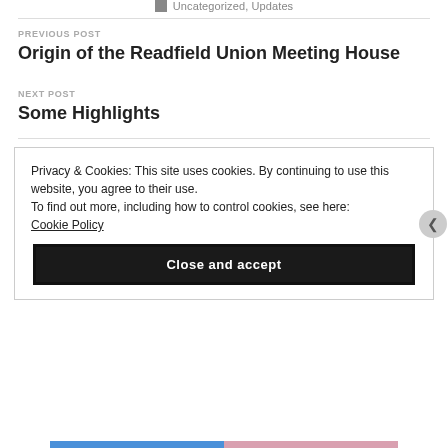Uncategorized, Updates
PREVIOUS POST
Origin of the Readfield Union Meeting House
NEXT POST
Some Highlights
Privacy & Cookies: This site uses cookies. By continuing to use this website, you agree to their use.
To find out more, including how to control cookies, see here:
Cookie Policy
Close and accept